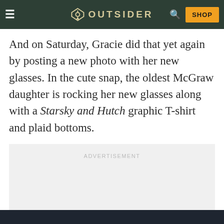OUTSIDER
And on Saturday, Gracie did that yet again by posting a new photo with her new glasses. In the cute snap, the oldest McGraw daughter is rocking her new glasses along with a Starsky and Hutch graphic T-shirt and plaid bottoms.
[Figure (other): Advertisement placeholder block with light gray background and 'ADVERTISEMENT' label]